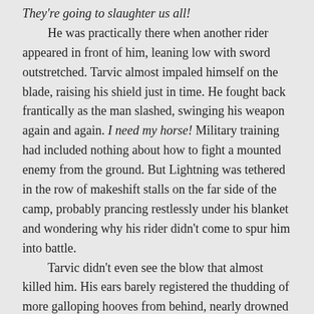They're going to slaughter us all! He was practically there when another rider appeared in front of him, leaning low with sword outstretched. Tarvic almost impaled himself on the blade, raising his shield just in time. He fought back frantically as the man slashed, swinging his weapon again and again. I need my horse! Military training had included nothing about how to fight a mounted enemy from the ground. But Lightning was tethered in the row of makeshift stalls on the far side of the camp, probably prancing restlessly under his blanket and wondering why his rider didn't come to spur him into battle. Tarvic didn't even see the blow that almost killed him. His ears barely registered the thudding of more galloping hooves from behind, nearly drowned out by the